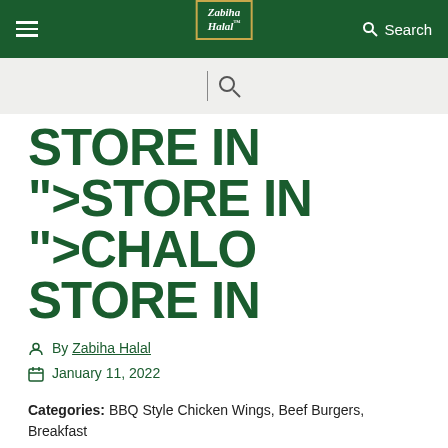Zabiha Halal — Search
STORE IN ">STORE IN ">CHALO STORE IN
By Zabiha Halal
January 11, 2022
Categories: BBQ Style Chicken Wings, Beef Burgers, Breakfast